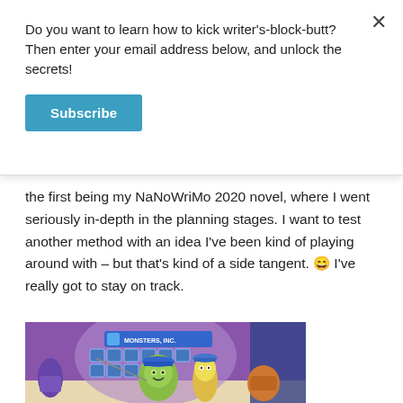Do you want to learn how to kick writer's-block-butt? Then enter your email address below, and unlock the secrets!
Subscribe
the first being my NaNoWriMo 2020 novel, where I went seriously in-depth in the planning stages. I want to test another method with an idea I've been kind of playing around with – but that's kind of a side tangent. 😄 I've really got to stay on track.
[Figure (photo): Scene from Monsters Inc animated movie showing cartoon monster characters wearing hard hats on a stage with a Monsters Inc sign in the background]